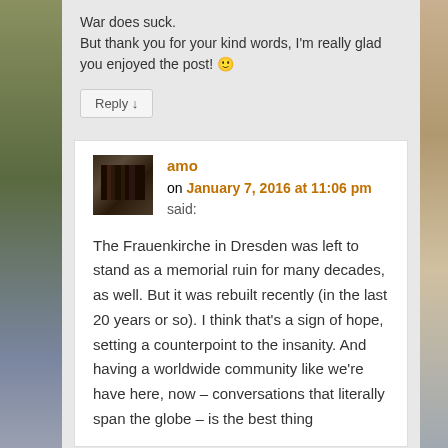War does suck.
But thank you for your kind words, I'm really glad you enjoyed the post! 🙂
Reply ↓
amo on January 7, 2016 at 11:06 pm said:
The Frauenkirche in Dresden was left to stand as a memorial ruin for many decades, as well. But it was rebuilt recently (in the last 20 years or so). I think that's a sign of hope, setting a counterpoint to the insanity. And having a worldwide community like we're have here, now – conversations that literally span the globe – is the best thing